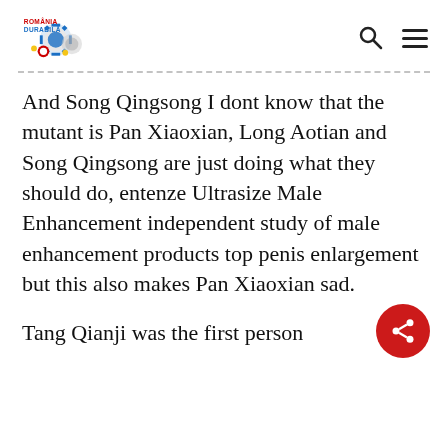România Durabilă — website header with logo, search icon, and menu icon
And Song Qingsong I dont know that the mutant is Pan Xiaoxian, Long Aotian and Song Qingsong are just doing what they should do, entenze Ultrasize Male Enhancement independent study of male enhancement products top penis enlargement but this also makes Pan Xiaoxian sad.
Tang Qianji was the first person